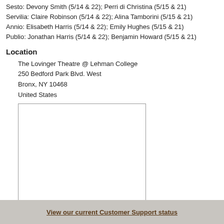Sesto: Devony Smith (5/14 & 22); Perri di Christina (5/15 & 21)
Servilia: Claire Robinson (5/14 & 22); Alina Tamborini (5/15 & 21)
Annio: Elisabeth Harris (5/14 & 22); Emily Hughes (5/15 & 21)
Publio: Jonathan Harris (5/14 & 22); Benjamin Howard (5/15 & 21)
Location
The Lovinger Theatre @ Lehman College
250 Bedford Park Blvd. West
Bronx, NY 10468
United States
[Figure (map): Empty map placeholder box with border]
View our current Customer Support status